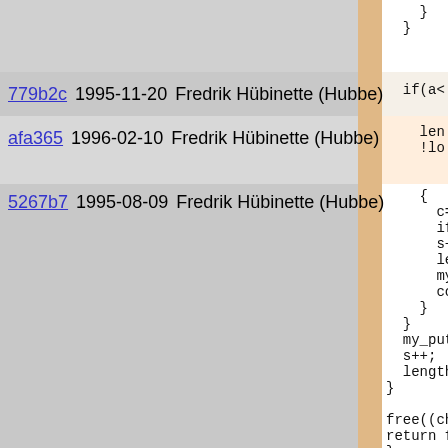} }
779b2c 1995-11-20 Fredrik Hübinette (Hubbe)  if(a<
afa365 1996-02-10 Fredrik Hübinette (Hubbe)  len !lo
5267b7 1995-08-09 Fredrik Hübinette (Hubbe)  { c=v if( s+=c len my_b con } } my_putc s++; length- } free((char return fre } void f_repla { if(args < error("